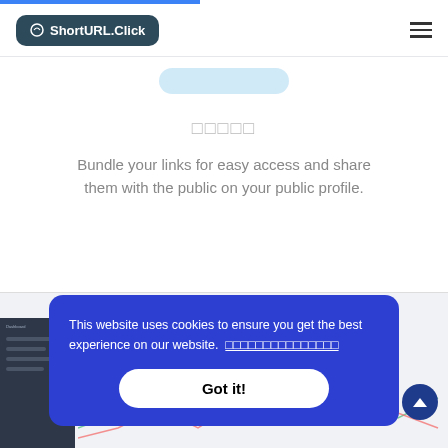ShortURL.Click
[Figure (illustration): Light blue pill/badge shape centered near top]
□□□□□
Bundle your links for easy access and share them with the public on your public profile.
[Figure (screenshot): Partial screenshot of dashboard with dark sidebar and chart lines visible]
This website uses cookies to ensure you get the best experience on our website. □□□□□□□□□□□□□□□
Got it!